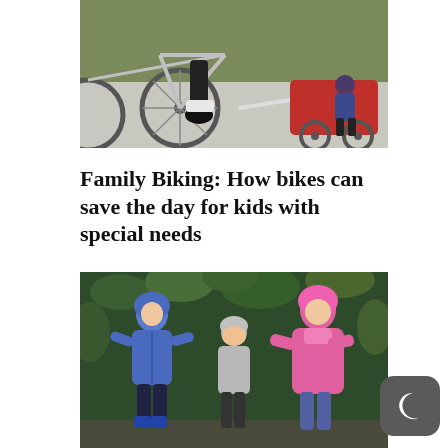[Figure (photo): A bicycle with a child trailer attached. An adult cyclist's legs and bike wheel are visible on the left, and a child sits in a red trailer on the right. The scene is on a sidewalk with green grass in the background.]
Family Biking: How bikes can save the day for kids with special needs
[Figure (photo): Three children standing outdoors in front of green leafy bushes, wearing rain jackets with hoods. The child on the left wears a blue jacket, the child in the middle wears a light gray jacket and covers their face, and the child on the right wears a bright pink jacket. They appear to be wearing rubber boots.]